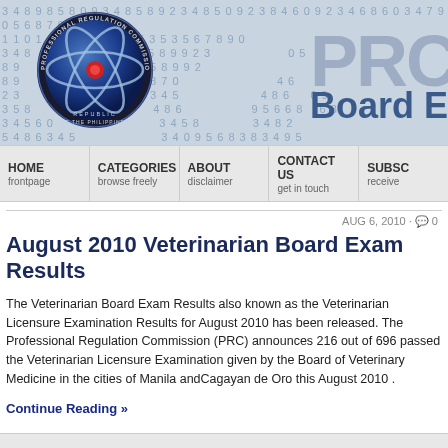[Figure (screenshot): PRC (Professional Regulation Commission) website header banner with logo, repeating numbers background, large 'PRC' text watermark, and 'Board E' text. Blue circular PRC seal/logo on left.]
HOME frontpage | CATEGORIES browse freely | ABOUT disclaimer | CONTACT US get in touch | SUBSC receive
AUG 6, 2010 · 💬 0
August 2010 Veterinarian Board Exam Results
The Veterinarian Board Exam Results also known as the Veterinarian Licensure Examination Results for August 2010 has been released. The Professional Regulation Commission (PRC) announces 216 out of 696 passed the Veterinarian Licensure Examination given by the Board of Veterinary Medicine in the cities of Manila andCagayan de Oro this August 2010 .
Continue Reading »